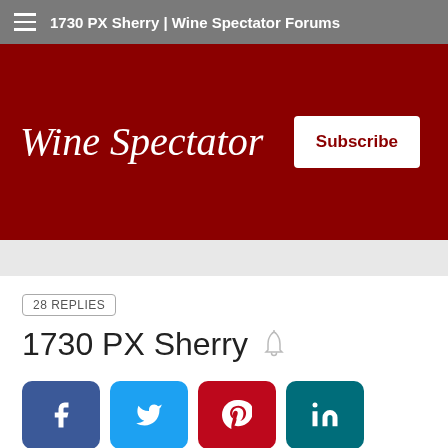1730 PX Sherry | Wine Spectator Forums
[Figure (logo): Wine Spectator logo in white italic serif text on dark red background with a Subscribe button]
28 REPLIES
1730 PX Sherry
[Figure (infographic): Social sharing buttons: Facebook (blue), Twitter (light blue), Pinterest (red), LinkedIn (teal), Reddit (orange), Copy (grey)]